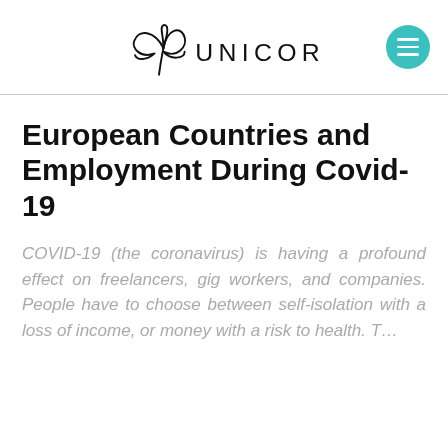UNICORN [logo with menu button]
European Countries and Employment During Covid-19
COVID-19 (the coronavirus) is having a profound effect on freelancers, gig workers, and companies. People have to choose between self-isolation with a loss of income, or money with a risk to health. T…